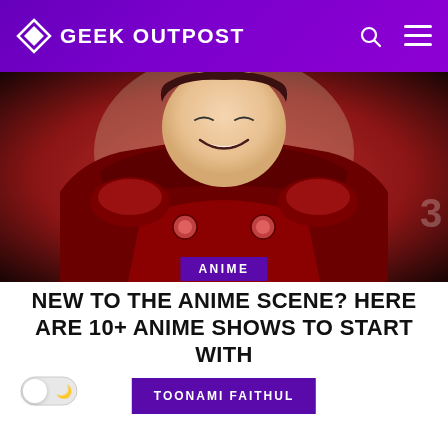GEEK OUTPOST
[Figure (illustration): Anime character wearing red armor with a smiling expression, close-up shot]
NEW TO THE ANIME SCENE? HERE ARE 10+ ANIME SHOWS TO START WITH
ANIME
TOONAMI FAITHUL